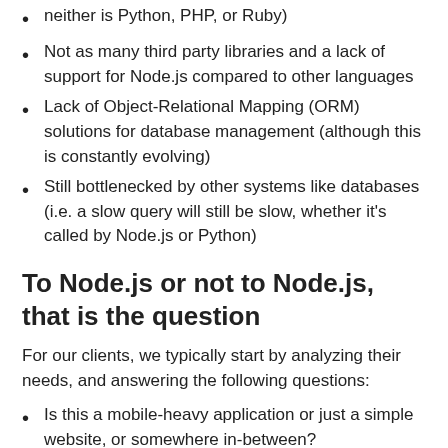neither is Python, PHP, or Ruby)
Not as many third party libraries and a lack of support for Node.js compared to other languages
Lack of Object-Relational Mapping (ORM) solutions for database management (although this is constantly evolving)
Still bottlenecked by other systems like databases (i.e. a slow query will still be slow, whether it’s called by Node.js or Python)
To Node.js or not to Node.js, that is the question
For our clients, we typically start by analyzing their needs, and answering the following questions:
Is this a mobile-heavy application or just a simple website, or somewhere in-between?
Is this a Minimum Viable Product (MVP)?
How much does the client expect their business model or product to change over the course of the next six